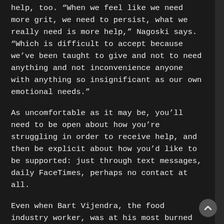help, too. “When we feel like we need more grit, we need to persist, what we really need is more help,” Nagoski says. “Which is difficult to accept because we’ve been taught to give and not to need anything and not inconvenience anyone with anything so insignificant as our own emotional needs.”
As uncomfortable as it may be, you’ll need to be open about how you’re struggling in order to receive help, and then be explicit about how you’d like to be supported: just through text messages, daily FaceTimes, perhaps no contact at all.
Even when Bart Vijendra, the food industry worker, was at his most burned out, he continued to show up for those he cares about, with the caveat being he wasn’t at full capacity. It’s all in the name of being a good friend, and he knows to expect the same from his inner circle.
“I’m exhausted, but I still want to be there for you